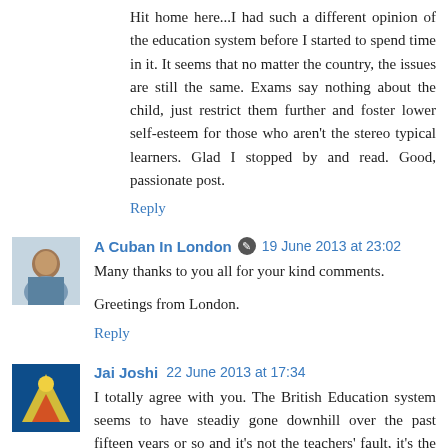Hit home here...I had such a different opinion of the education system before I started to spend time in it. It seems that no matter the country, the issues are still the same. Exams say nothing about the child, just restrict them further and foster lower self-esteem for those who aren't the stereo typical learners. Glad I stopped by and read. Good, passionate post.
Reply
A Cuban In London  19 June 2013 at 23:02
Many thanks to you all for your kind comments.

Greetings from London.
Reply
Jai Joshi  22 June 2013 at 17:34
I totally agree with you. The British Education system seems to have steadiy gone downhill over the past fifteen years or so and it's not the teachers' fault, it's the freaking